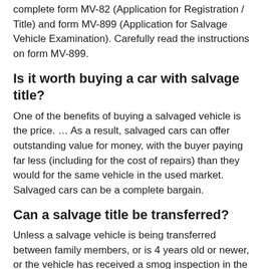complete form MV-82 (Application for Registration / Title) and form MV-899 (Application for Salvage Vehicle Examination). Carefully read the instructions on form MV-899.
Is it worth buying a car with salvage title?
One of the benefits of buying a salvaged vehicle is the price. … As a result, salvaged cars can offer outstanding value for money, with the buyer paying far less (including for the cost of repairs) than they would for the same vehicle in the used market. Salvaged cars can be a complete bargain.
Can a salvage title be transferred?
Unless a salvage vehicle is being transferred between family members, or is 4 years old or newer, or the vehicle has received a smog inspection in the last 90 days, a smog check certificate will be